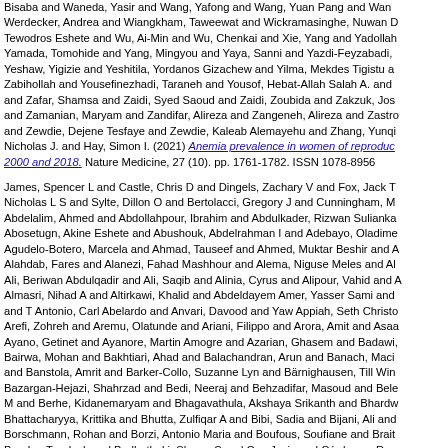Bisaba and Waneda, Yasir and Wang, Yafong and Wang, Yuan Pang and Wans, Werdecker, Andrea and Wiangkham, Taweewat and Wickramasinghe, Nuwan D and Tewodros Eshete and Wu, Ai-Min and Wu, Chenkai and Xie, Yang and Yadollah, Yamada, Tomohide and Yang, Mingyou and Yaya, Sanni and Yazdi-Feyzabadi, Yeshaw, Yigizie and Yeshitila, Yordanos Gizachew and Yilma, Mekdes Tigistu and Zabihollah and Yousefinezhadi, Taraneh and Yousof, Hebat-Allah Salah A. and and Zafar, Shamsa and Zaidi, Syed Saoud and Zaidi, Zoubida and Zakzuk, Jos and Zamanian, Maryam and Zandifar, Alireza and Zangeneh, Alireza and Zastro and Zewdie, Dejene Tesfaye and Zewdie, Kaleab Alemayehu and Zhang, Yunq Nicholas J. and Hay, Simon I. (2021) Anemia prevalence in women of reproductive age between 2000 and 2018. Nature Medicine, 27 (10). pp. 1761-1782. ISSN 1078-8956
James, Spencer L and Castle, Chris D and Dingels, Zachary V and Fox, Jack T and Nicholas L S and Sylte, Dillon O and Bertolacci, Gregory J and Cunningham, M and Abdelalim, Ahmed and Abdollahpour, Ibrahim and Abdulkader, Rizwan Sulianka Abosetugn, Akine Eshete and Abushouk, Abdelrahman I and Adebayo, Oladime Agudelo-Botero, Marcela and Ahmad, Tauseef and Ahmed, Muktar Beshir and A Alahdab, Fares and Alanezi, Fahad Mashhour and Alema, Niguse Meles and Al Ali, Beriwan Abdulqadir and Ali, Saqib and Alinia, Cyrus and Alipour, Vahid and A Almasri, Nihad A and Altirkawi, Khalid and Abdeldayem Amer, Yasser Sami and and T Antonio, Carl Abelardo and Anvari, Davood and Yaw Appiah, Seth Christof Arefi, Zohreh and Aremu, Olatunde and Ariani, Filippo and Arora, Amit and Asaa Ayano, Getinet and Ayanore, Martin Amogre and Azarian, Ghasem and Badawi, Bairwa, Mohan and Bakhtiari, Ahad and Balachandran, Arun and Banach, Maci and Banstola, Amrit and Barker-Collo, Suzanne Lyn and Bärnighausen, Till Win Bazargan-Hejazi, Shahrzad and Bedi, Neeraj and Behzadifar, Masoud and Bele M and Berhe, Kidanemaryam and Bhagavathula, Akshaya Srikanth and Bhardw Bhattacharyya, Krittika and Bhutta, Zulfiqar A and Bibi, Sadia and Bijani, Ali and Borschmann, Rohan and Borzi, Antonio Maria and Boufous, Soufiane and Brait Brugha, Traolach and Budhathoki, Shyam S and Car, Josip and Cárdenas, Ros Mauricio and Castañeda-Orjuela, Carlos A and Castelnietra, Giulio and Calá